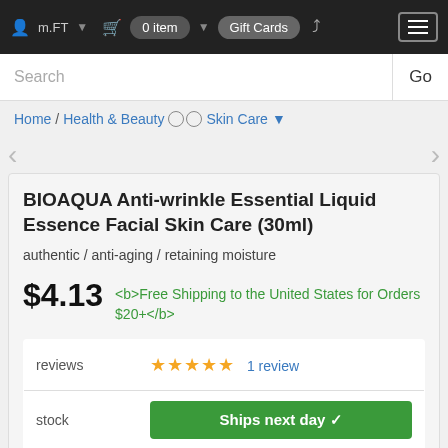m.FT  0 item  Gift Cards
Search  Go
Home / Health & Beauty / Skin Care
BIOAQUA Anti-wrinkle Essential Liquid Essence Facial Skin Care (30ml)
authentic / anti-aging / retaining moisture
$4.13  <b>Free Shipping to the United States for Orders $20+</b>
|  |  |
| --- | --- |
| reviews | ★★★★★  1 review |
| stock | Ships next day ✓ |
| quantity | 1 |